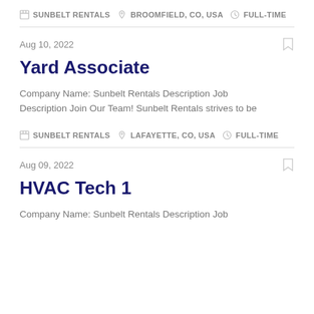SUNBELT RENTALS  BROOMFIELD, CO, USA  FULL-TIME
Aug 10, 2022
Yard Associate
Company Name: Sunbelt Rentals Description Job Description Join Our Team! Sunbelt Rentals strives to be
SUNBELT RENTALS  LAFAYETTE, CO, USA  FULL-TIME
Aug 09, 2022
HVAC Tech 1
Company Name: Sunbelt Rentals Description Job